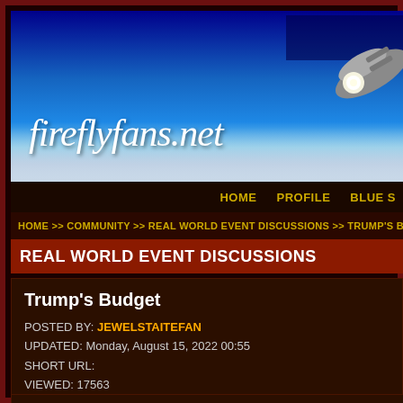[Figure (screenshot): Website header banner for fireflyfans.net showing a blue sky background with clouds and a partial spaceship/satellite image in the upper right corner]
fireflyfans.net
HOME   PROFILE   BLUE S
HOME >> COMMUNITY >> REAL WORLD EVENT DISCUSSIONS >> TRUMP'S BUDGET
REAL WORLD EVENT DISCUSSIONS
Trump's Budget
POSTED BY: JEWELSTAITEFAN
UPDATED: Monday, August 15, 2022 00:55
SHORT URL:
VIEWED: 17563
PAGE 1 of 7